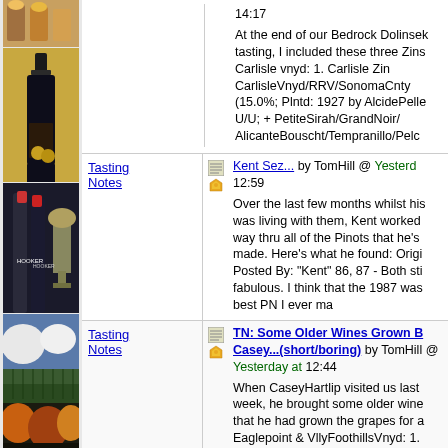[Figure (photo): Wine bottles and glasses on left column, top partial row]
14:17
At the end of our Bedrock Dolinsek tasting, I included these three Zins Carlisle vnyd: 1. Carlisle Zin CarlisleVnyd/RRV/SonomaCnty (15.0%; Plntd: 1927 by AlcidePelle U/U; + PetiteSirah/GrandNoir/AlicanteBouscher/Tempranillo/Pelc
[Figure (photo): Wine bottle with gold medals award photo]
Tasting Notes
Kent Sez... by TomHill @ Yesterday 12:59
Over the last few months whilst his was living with them, Kent worked way thru all of the Pinots that he's made. Here's what he found: Origi Posted By: "Kent" 86, 87 - Both sti fabulous. I think that the 1987 was best PN I ever ma
[Figure (photo): Two wine bottles with trophy/award]
Tasting Notes
TN: Some Older Wines Grown B Casey...(short/boring) by TomHill @ Yesterday at 12:44
When CaseyHartlip visited us last week, he brought some older wine that he had grown the grapes for a Eaglepoint & VllyFoothillsVnyd: 1. Cowan Cllrs AndersonVlly PinotNo 2013: Dark color; rather toasty/Fr.oak/pencilly very
[Figure (photo): Vineyard landscape with clouds]
[Figure (photo): Trees in autumn colors at bottom]